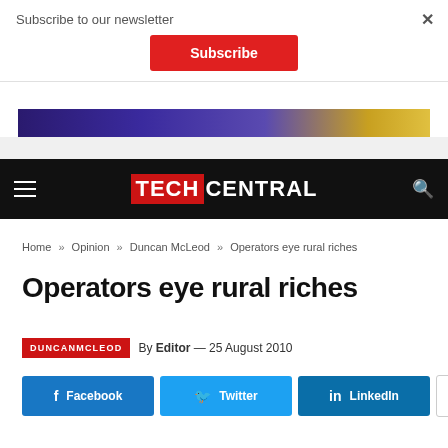Subscribe to our newsletter
Subscribe
[Figure (screenshot): Partial banner/advertisement image strip with purple and yellow gradient colors]
TECHCENTRAL
Home » Opinion » DuncanMcLeod » Operators eye rural riches
Operators eye rural riches
DUNCANMCLEOD  By Editor — 25 August 2010
Facebook  Twitter  LinkedIn